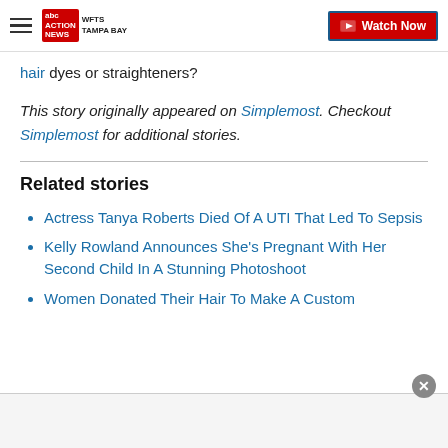ABC Action News WFTS Tampa Bay — Watch Now
hair dyes or straighteners?
This story originally appeared on Simplemost. Checkout Simplemost for additional stories.
Related stories
Actress Tanya Roberts Died Of A UTI That Led To Sepsis
Kelly Rowland Announces She's Pregnant With Her Second Child In A Stunning Photoshoot
Women Donated Their Hair To Make A Custom